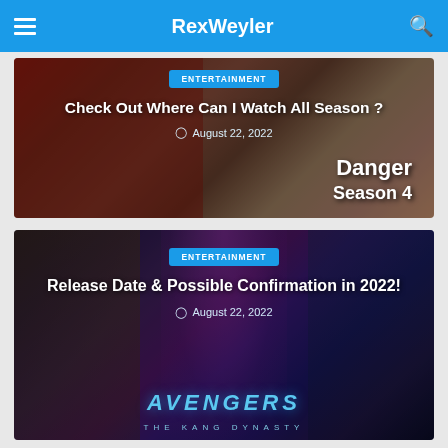RexWeyler
[Figure (screenshot): Article card with Marvel/entertainment image background showing a character in red/blue costume on left and person in plaid shirt on right, with 'Danger Season 4' text overlay. Category badge: ENTERTAINMENT. Title: Check Out Where Can I Watch All Season ? Date: August 22, 2022]
[Figure (screenshot): Article card with Avengers/Marvel themed image background showing multiple Marvel characters including Ant-Man, Black Panther, Kang villain, Captain Marvel, Loki, with 'AVENGERS THE KANG DYNASTY' text overlay. Category badge: ENTERTAINMENT. Title: Release Date & Possible Confirmation in 2022! Date: August 22, 2022]